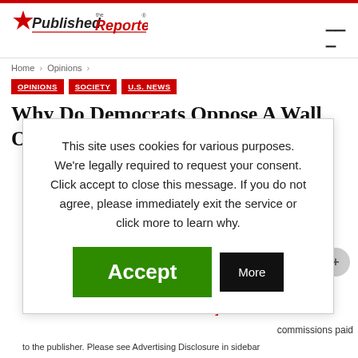Published the Reporter (logo) | hamburger menu
Home > Opinions >
OPINIONS | SOCIETY | U.S. NEWS
Why Do Democrats Oppose A Wall On
This site uses cookies for various purposes. We're legally required to request your consent. Click accept to close this message. If you do not agree, please immediately exit the service or click more to learn why.
Accept | More
es (.com, .net, DOMAIN NAMES] commissions paid to the publisher. Please see Advertising Disclosure in sidebar